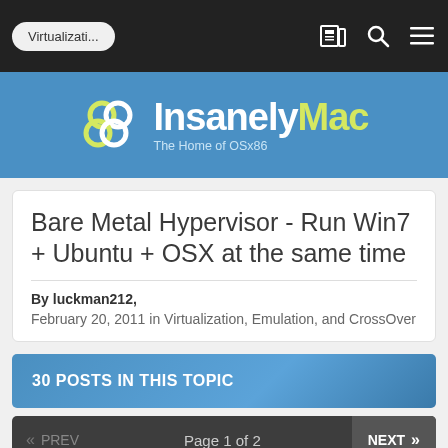Virtualizati...
[Figure (logo): InsanelyMac logo with circular overlapping rings icon and text 'InsanelyMac - The Home of OSx86']
Bare Metal Hypervisor - Run Win7 + Ubuntu + OSX at the same time
By luckman212,
February 20, 2011 in Virtualization, Emulation, and CrossOver
30 POSTS IN THIS TOPIC
« PREV   Page 1 of 2   NEXT »